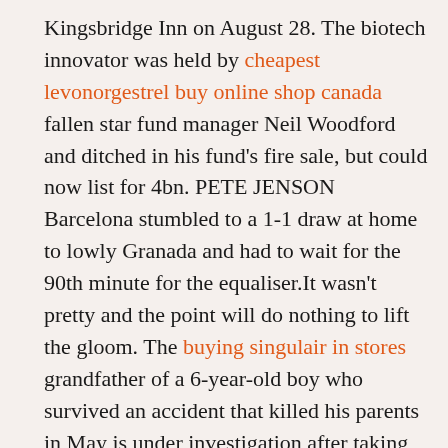Kingsbridge Inn on August 28. The biotech innovator was held by cheapest levonorgestrel buy online shop canada fallen star fund manager Neil Woodford and ditched in his fund's fire sale, but could now list for 4bn. PETE JENSON Barcelona stumbled to a 1-1 draw at home to lowly Granada and had to wait for the 90th minute for the equaliser.It wasn't pretty and the point will do nothing to lift the gloom. The buying singulair in stores grandfather of a 6-year-old boy who survived an accident that killed his parents in May is under investigation after taking him to Israel. To acquire Carmelo Anthony, the Knicks will give up Danilo Gallinari, Raymond Felton, Wilson Chandler and Timofey Mozgov along with the Knicks' first-